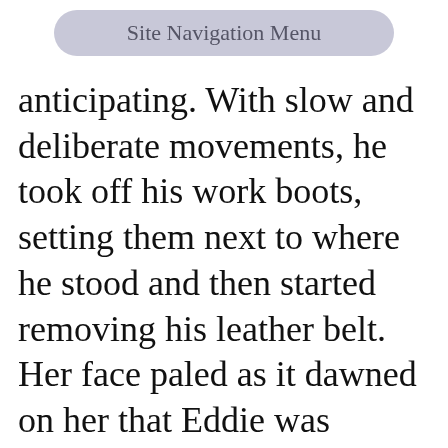Site Navigation Menu
anticipating. With slow and deliberate movements, he took off his work boots, setting them next to where he stood and then started removing his leather belt. Her face paled as it dawned on her that Eddie was slowly stripping. It wasn't exotic or remotely sexual but methodical and nearly